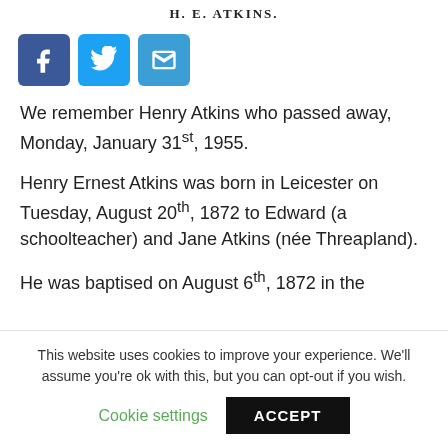H. E. ATKINS.
[Figure (infographic): Three social sharing buttons: Facebook (blue, f icon), Twitter (light blue, bird icon), Email (blue, envelope icon)]
We remember Henry Atkins who passed away, Monday, January 31st, 1955.
Henry Ernest Atkins was born in Leicester on Tuesday, August 20th, 1872 to Edward (a schoolteacher) and Jane Atkins (née Threapland).
He was baptised on August 6th, 1872 in the Anglican Cathedral Church of St. Martin, Leicester. At the time of the baptism the Atkins family was living at 57, King Richard's Road, Leicester. Threapland in 2021 appears to have associated by…
This website uses cookies to improve your experience. We'll assume you're ok with this, but you can opt-out if you wish.
Cookie settings   ACCEPT